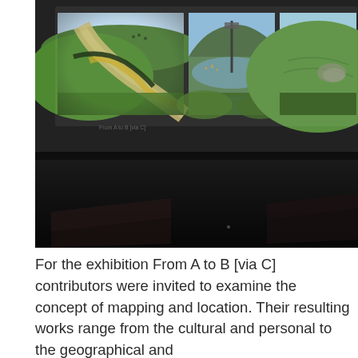[Figure (photo): A dark gallery/exhibition room with three projected landscape images displayed side-by-side on a wall near the ceiling. The projections show outdoor scenes with hills, paths, and countryside. The room below is dark with some equipment or furniture visible on the floor.]
For the exhibition From A to B [via C] contributors were invited to examine the concept of mapping and location. Their resulting works range from the cultural and personal to the geographical and